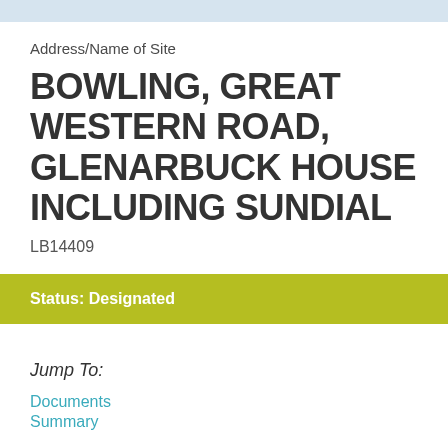Address/Name of Site
BOWLING, GREAT WESTERN ROAD, GLENARBUCK HOUSE INCLUDING SUNDIAL
LB14409
Status: Designated
Jump To:
Documents
Summary